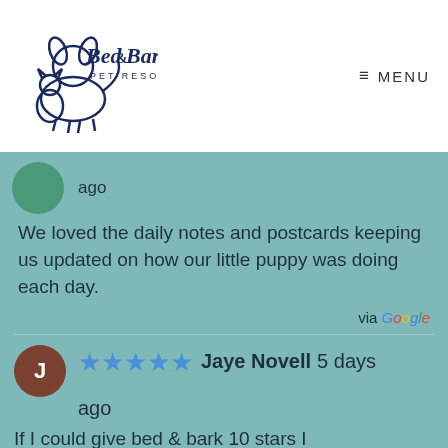[Figure (logo): Bed & Bark Pet Resort logo with illustrated dog and cat, dark blue text]
≡ MENU
ago
We loved the daily notes and postcards keeping us updated on how our little puppy was doing each day.
via Google
★★★★★ Jaye Novell 5 days ago
If I could give bed & bark 10 stars I